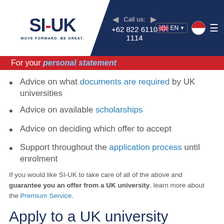[Figure (logo): SI-UK logo with text MOVE FORWARD. BE GREAT.]
Call us: +62 822 6110 1114 | EN
For your personal statement
Advice on what documents are required by UK universities
Advice on available scholarships
Advice on deciding which offer to accept
Support throughout the application process until enrolment
If you would like SI-UK to take care of all of the above and guarantee you an offer from a UK university, learn more about the Premium Service.
Apply to a UK university
If you are interested in learning more about studying in the UK